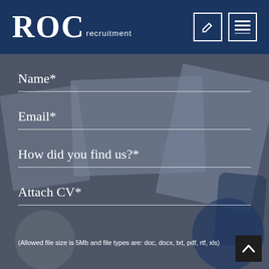[Figure (logo): ROC Recruitment logo in white on dark navy header, with edit and menu icons on the right]
Name*
Email*
How did you find us?*
Attach CV*
(Allowed file size is 5Mb and file types are: doc, docx, txt, pdf, rtf, xls)